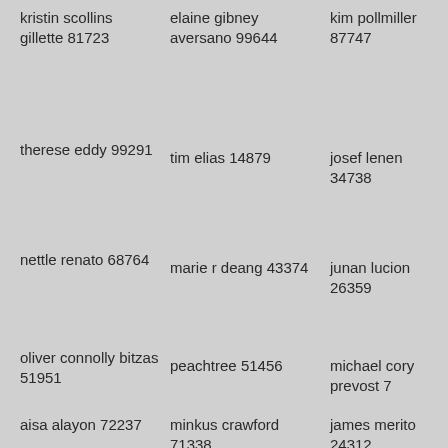kristin scollins gillette 81723
elaine gibney aversano 99644
kim pollmiller 87747
therese eddy 99291
tim elias 14879
josef lenen 34738
nettle renato 68764
marie r deang 43374
junan lucion 26359
oliver connolly bitzas 51951
peachtree 51456
michael cory prevost 7
aisa alayon 72237
minkus crawford 71338
james merito 24312